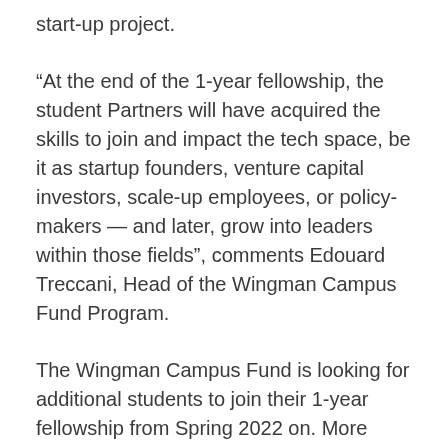start-up project.
“At the end of the 1-year fellowship, the student Partners will have acquired the skills to join and impact the tech space, be it as startup founders, venture capital investors, scale-up employees, or policy-makers — and later, grow into leaders within those fields”, comments Edouard Treccani, Head of the Wingman Campus Fund Program.
The Wingman Campus Fund is looking for additional students to join their 1-year fellowship from Spring 2022 on. More information on the website of the fund.